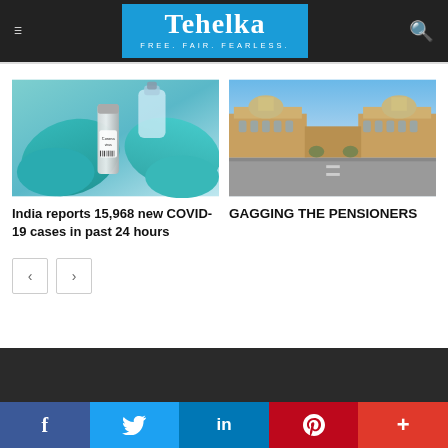Tehelka — FREE. FAIR. FEARLESS.
[Figure (photo): Hands in blue surgical gloves holding a Coronavirus-labeled vial and a glass medical bottle]
India reports 15,968 new COVID-19 cases in past 24 hours
[Figure (photo): Wide empty road in front of large red-and-cream government buildings (Secretariat buildings, New Delhi) under a clear blue sky]
GAGGING THE PENSIONERS
f  Twitter  in  P  +